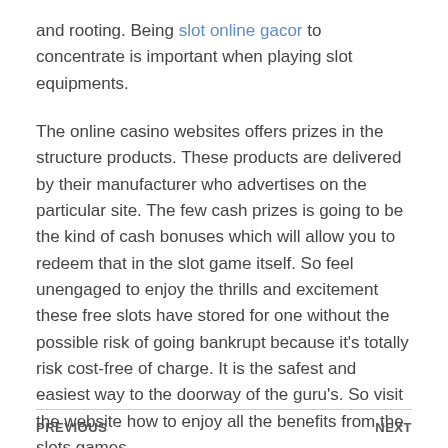and rooting. Being slot online gacor to concentrate is important when playing slot equipments.
The online casino websites offers prizes in the structure products. These products are delivered by their manufacturer who advertises on the particular site. The few cash prizes is going to be the kind of cash bonuses which will allow you to redeem that in the slot game itself. So feel unengaged to enjoy the thrills and excitement these free slots have stored for one without the possible risk of going bankrupt because it’s totally risk cost-free of charge. It is the safest and easiest way to the doorway of the guru’s. So visit the website how to enjoy all the benefits from the slots games.
PREVIOUS    NEXT